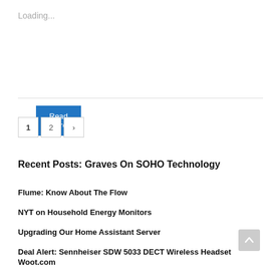Loading...
Read More
1
2
>
Recent Posts: Graves On SOHO Technology
Flume: Know About The Flow
NYT on Household Energy Monitors
Upgrading Our Home Assistant Server
Deal Alert: Sennheiser SDW 5033 DECT Wireless Headset Woot.com
T-Mobile...